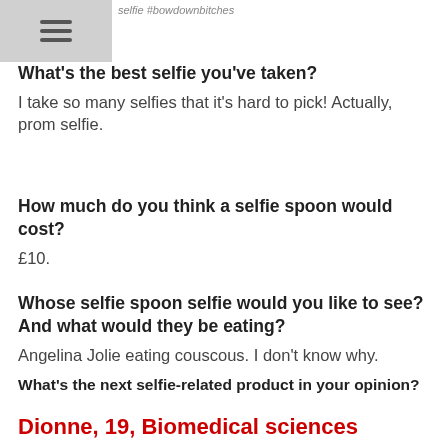selfie #bowdownbitches
What's the best selfie you've taken?
I take so many selfies that it's hard to pick! Actually, prom selfie.
How much do you think a selfie spoon would cost?
£10.
Whose selfie spoon selfie would you like to see? And what would they be eating?
Angelina Jolie eating couscous. I don't know why.
What's the next selfie-related product in your opinion?
Selfie bottle!
Dionne, 19, Biomedical sciences